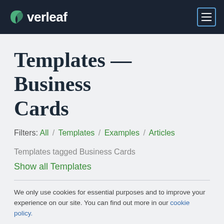Overleaf
Templates — Business Cards
Filters: All / Templates / Examples / Articles
Templates tagged Business Cards
Show all Templates
We only use cookies for essential purposes and to improve your experience on our site. You can find out more in our cookie policy.
Essential cookies only   Accept all cookies